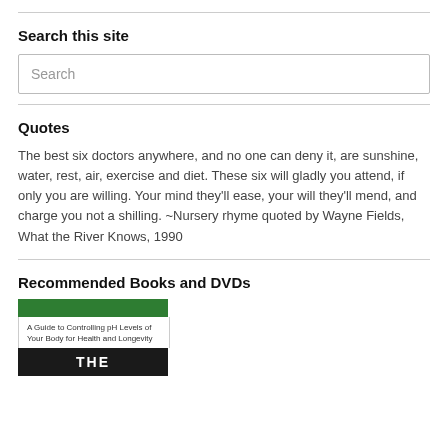Search this site
Search
Quotes
The best six doctors anywhere, and no one can deny it, are sunshine, water, rest, air, exercise and diet. These six will gladly you attend, if only you are willing. Your mind they'll ease, your will they'll mend, and charge you not a shilling. ~Nursery rhyme quoted by Wayne Fields, What the River Knows, 1990
Recommended Books and DVDs
[Figure (illustration): Book cover showing green bar at top, subtitle 'A Guide to Controlling pH Levels of Your Body for Health and Longevity', and a black bar with the word THE in white text]